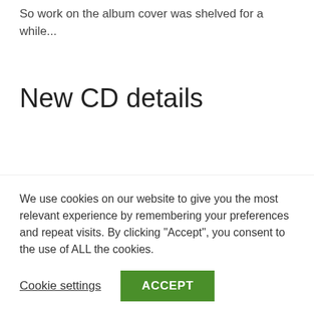So work on the album cover was shelved for a while...
New CD details
The cover
I eventually did finish the full cover for the ‘Found My Way’ CD recently. The CD will come in a folding cover as with the ‘Life Line’ CD – a bit like a small
We use cookies on our website to give you the most relevant experience by remembering your preferences and repeat visits. By clicking “Accept”, you consent to the use of ALL the cookies.
Cookie settings
ACCEPT